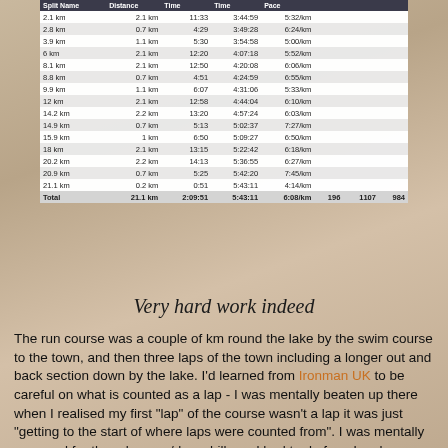| Split Name | Distance | Time | Time | Pace |  |  |  |
| --- | --- | --- | --- | --- | --- | --- | --- |
| 2.1 km | 2.1 km | 11:33 | 3:44:59 | 5:32/km |  |  |  |
| 2.8 km | 0.7 km | 4:29 | 3:49:28 | 6:24/km |  |  |  |
| 3.9 km | 1.1 km | 5:30 | 3:54:58 | 5:00/km |  |  |  |
| 6 km | 2.1 km | 12:20 | 4:07:18 | 5:52/km |  |  |  |
| 8.1 km | 2.1 km | 12:50 | 4:20:08 | 6:06/km |  |  |  |
| 8.8 km | 0.7 km | 4:51 | 4:24:59 | 6:55/km |  |  |  |
| 9.9 km | 1.1 km | 6:07 | 4:31:06 | 5:33/km |  |  |  |
| 12 km | 2.1 km | 12:58 | 4:44:04 | 6:10/km |  |  |  |
| 14.2 km | 2.2 km | 13:20 | 4:57:24 | 6:03/km |  |  |  |
| 14.9 km | 0.7 km | 5:13 | 5:02:37 | 7:27/km |  |  |  |
| 15.9 km | 1 km | 6:50 | 5:09:27 | 6:50/km |  |  |  |
| 18 km | 2.1 km | 13:15 | 5:22:42 | 6:18/km |  |  |  |
| 20.2 km | 2.2 km | 14:13 | 5:36:55 | 6:27/km |  |  |  |
| 20.9 km | 0.7 km | 5:25 | 5:42:20 | 7:45/km |  |  |  |
| 21.1 km | 0.2 km | 0:51 | 5:43:11 | 4:14/km |  |  |  |
| Total | 21.1 km | 2:09:51 | 5:43:11 | 6:08/km | 196 | 1107 | 984 |
Very hard work indeed
The run course was a couple of km round the lake by the swim course to the town, and then three laps of the town including a longer out and back section down by the lake. I'd learned from Ironman UK to be careful on what is counted as a lap - I was mentally beaten up there when I realised my first "lap" of the course wasn't a lap it was just "getting to the start of where laps were counted from". I was mentally prepared for three long up/down hills and had to do four. I make a point now of checking how many circuits I'm really doing. As there was a lap of the town before getting the lap-counting bands, I know I was to do four laps of the town, and